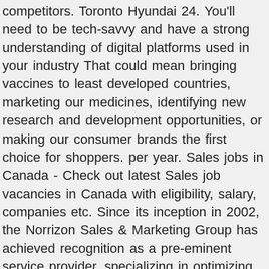competitors. Toronto Hyundai 24. You'll need to be tech-savvy and have a strong understanding of digital platforms used in your industry That could mean bringing vaccines to least developed countries, marketing our medicines, identifying new research and development opportunities, or making our consumer brands the first choice for shoppers. per year. Sales jobs in Canada - Check out latest Sales job vacancies in Canada with eligibility, salary, companies etc. Since its inception in 2002, the Norrizon Sales & Marketing Group has achieved recognition as a pre-eminent service provider, specializing in optimizing results in partnership with pharmaceutical, medical devices, consumer healthcare, natural health products, and beauty organizations. We specialize in identifying and representing the most innovative manufacturers and technologies in the electrical, lighting, automation, and renewables industries. Marketing Manager. The company's filing status is listed as Active and its File Number is 1073709-7.The company's principal address is 160 Elgin Street, Suite 2600, Ottawa, ON K1P 1C3 CA. Hurry the courses start from 04/01/2021. View all. Westmount, QC •